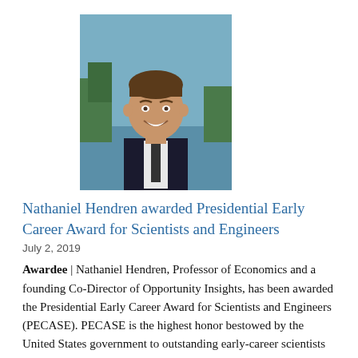[Figure (photo): Headshot of a smiling man in a dark suit and tie, outdoors with trees and water in background.]
Nathaniel Hendren awarded Presidential Early Career Award for Scientists and Engineers
July 2, 2019
Awardee | Nathaniel Hendren, Professor of Economics and a founding Co-Director of Opportunity Insights, has been awarded the Presidential Early Career Award for Scientists and Engineers (PECASE). PECASE is the highest honor bestowed by the United States government to outstanding early-career scientists and engineers who show exceptional potential for leadership at the frontiers of scientific knowledge. Hendren